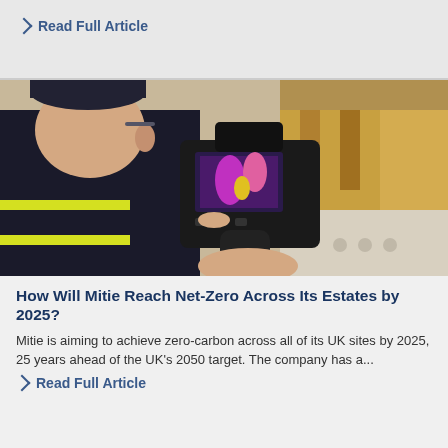> Read Full Article
[Figure (photo): A person in a dark jacket with yellow high-visibility vest holding a thermal imaging camera pointed at a surface. The camera screen shows a purple/yellow thermal image. Background shows blurred metallic surfaces.]
How Will Mitie Reach Net-Zero Across Its Estates by 2025?
Mitie is aiming to achieve zero-carbon across all of its UK sites by 2025, 25 years ahead of the UK's 2050 target. The company has a...
> Read Full Article